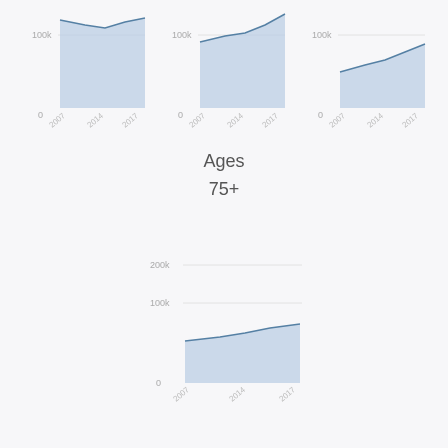[Figure (area-chart): Ages 75+ chart left]
[Figure (area-chart): Ages 75+ chart middle]
[Figure (area-chart): Ages 75+ chart right]
Ages
75+
[Figure (area-chart): Ages 75+ chart bottom center]